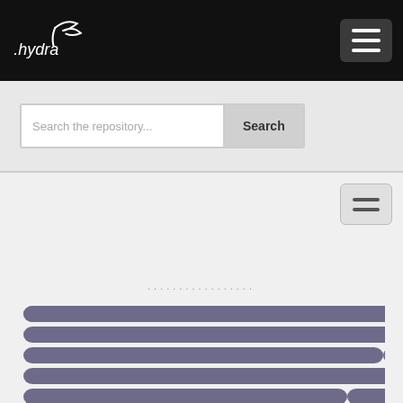[Figure (screenshot): Hydra logo in white on dark navigation bar]
[Figure (screenshot): Dark hamburger menu button on navigation bar]
Search the repository...
[Figure (screenshot): Light hamburger menu button on light background]
...............
[Figure (bar-chart): Horizontal bar chart with purple/slate rounded bars, partially cropped at bottom]